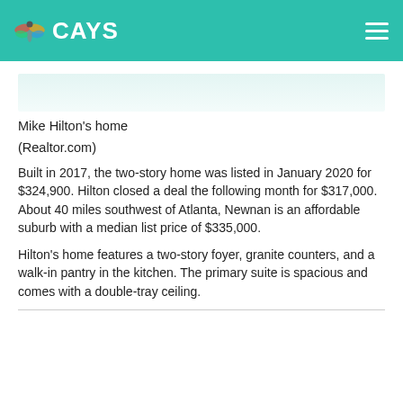CAYS
[Figure (photo): Partial view of Mike Hilton's home (faded/cut off at top of content area)]
Mike Hilton's home
(Realtor.com)
Built in 2017, the two-story home was listed in January 2020 for $324,900. Hilton closed a deal the following month for $317,000. About 40 miles southwest of Atlanta, Newnan is an affordable suburb with a median list price of $335,000.
Hilton's home features a two-story foyer, granite counters, and a walk-in pantry in the kitchen. The primary suite is spacious and comes with a double-tray ceiling.